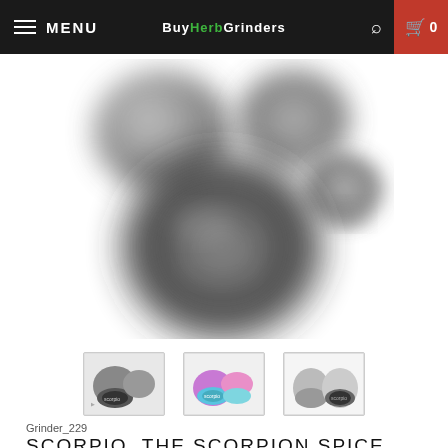MENU | BUYHERBGRINDERS | 0
[Figure (photo): Blurry product photo of a disassembled herb grinder (Scorpio/Scorpion Spice design), showing multiple metallic dark grey/black grinder components spread apart, with the grinder lid in the center foreground showing engraved design.]
[Figure (photo): Three product thumbnail images: left shows grey herb grinder components, center shows colorful rainbow/multicolor herb grinder, right shows silver/clear herb grinder with scorpion design lid.]
Grinder_229
SCORPIO, THE SCORPION SPICE